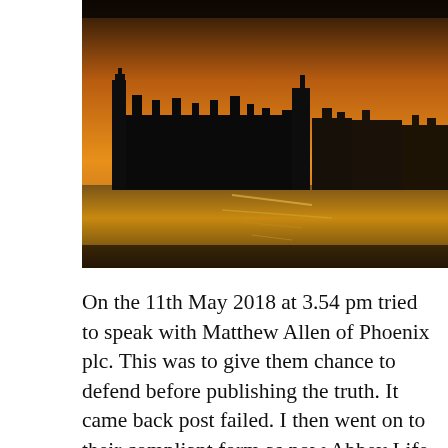[Figure (photo): Silhouetted cityscape (resembling the Houses of Parliament in London) against an orange sunset sky, reflected in water below.]
On the 11th May 2018 at 3.54 pm tried to speak with Matthew Allen of Phoenix plc. This was to give them chance to defend before publishing the truth. It came back post failed. I then went on to their compliant form as now Abbey Life is owned by Phoenix Assurance and so in great trouble as so many have complained of Abbey Life scam to new owners of that said firm.
I only hope this helps those who now have a chance at showing up that scam that made